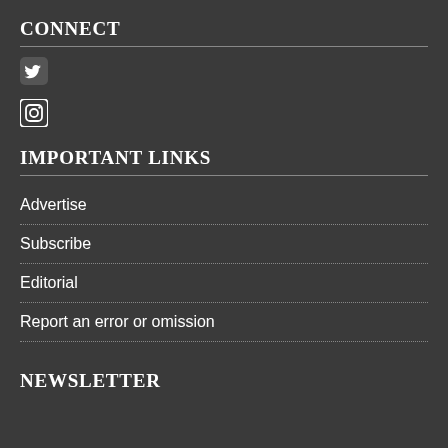CONNECT
[Figure (illustration): Twitter bird icon in a rounded square]
[Figure (illustration): Instagram camera icon in a rounded square]
IMPORTANT LINKS
Advertise
Subscribe
Editorial
Report an error or omission
NEWSLETTER